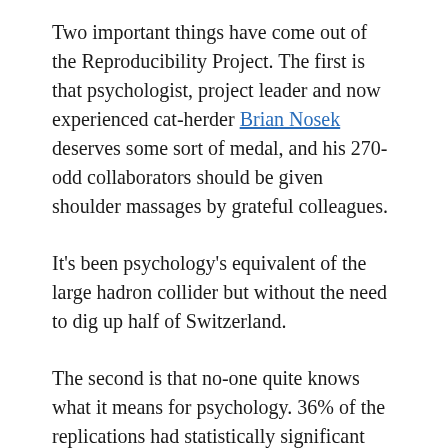Two important things have come out of the Reproducibility Project. The first is that psychologist, project leader and now experienced cat-herder Brian Nosek deserves some sort of medal, and his 270-odd collaborators should be given shoulder massages by grateful colleagues.
It's been psychology's equivalent of the large hadron collider but without the need to dig up half of Switzerland.
The second is that no-one quite knows what it means for psychology. 36% of the replications had statistically significant results and 47%